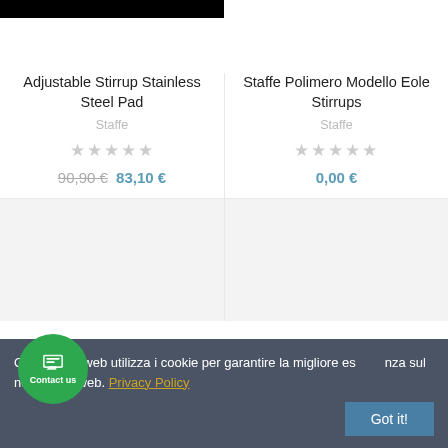[Figure (photo): Top portion of product image for Adjustable Stirrup Stainless Steel Pad (black bar visible at top)]
Adjustable Stirrup Stainless Steel Pad
Staffe
★★★★★ (empty stars rating)
90,90 €  83,10 €
[Figure (photo): Product image for Staffe Polimero Modello Eole Stirrups]
Staffe Polimero Modello Eole Stirrups
Staffe
★★★★★ (empty stars rating)
0,00 €
[Figure (photo): Product image placeholder (light gray)]
[Figure (photo): Product image placeholder (light gray)]
Questo sito web utilizza i cookie per garantire la migliore esperienza sul nostro sito web. Privacy Policy
Got it!